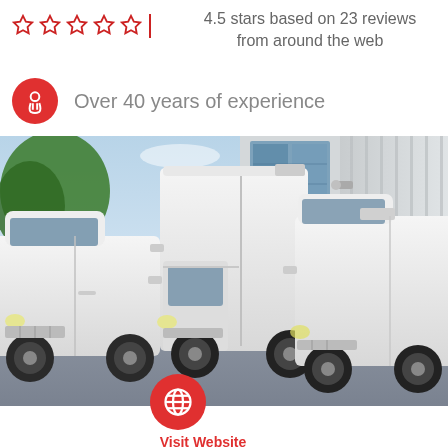4.5 stars based on 23 reviews from around the web
Over 40 years of experience
[Figure (photo): Fleet of white commercial delivery vans/trucks parked in front of a warehouse building with large glass windows and trees in the background]
Visit Website